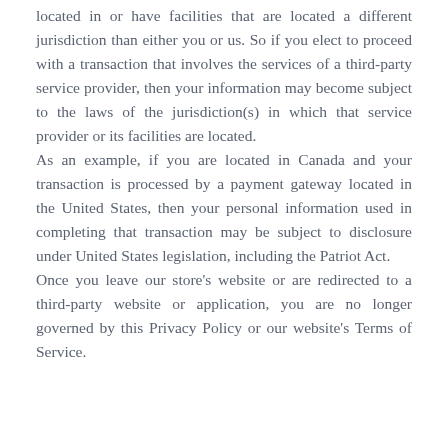located in or have facilities that are located a different jurisdiction than either you or us. So if you elect to proceed with a transaction that involves the services of a third-party service provider, then your information may become subject to the laws of the jurisdiction(s) in which that service provider or its facilities are located. As an example, if you are located in Canada and your transaction is processed by a payment gateway located in the United States, then your personal information used in completing that transaction may be subject to disclosure under United States legislation, including the Patriot Act. Once you leave our store's website or are redirected to a third-party website or application, you are no longer governed by this Privacy Policy or our website's Terms of Service.